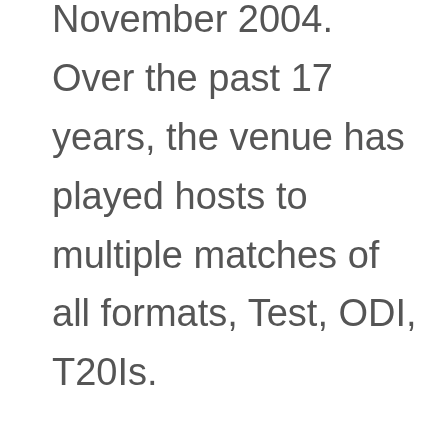November 2004. Over the past 17 years, the venue has played hosts to multiple matches of all formats, Test, ODI, T20Is.

The Zayed Cricket Stadium was also one of the four venues which hosted the ICC T20 World Cup 2021.

Known to house a very balanced surface, matches at the Zayed Cricket Stadium are often highly